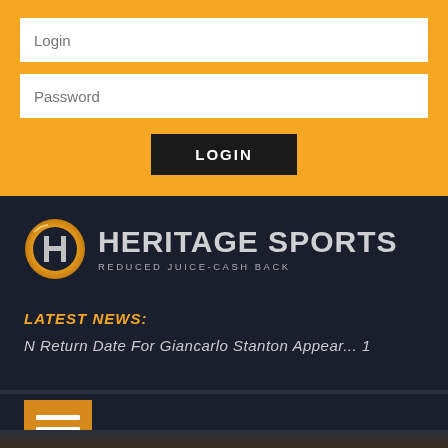Login (input field)
Password (input field)
LOGIN (button)
[Figure (logo): Heritage Sports logo with circular H emblem and text HERITAGE SPORTS, tagline REDUCED JUICE-CASH BACK]
LATEST NEWS:
N Return Date For Giancarlo Stanton Appear... 1
[Figure (screenshot): Orange hamburger menu button with three white horizontal lines]